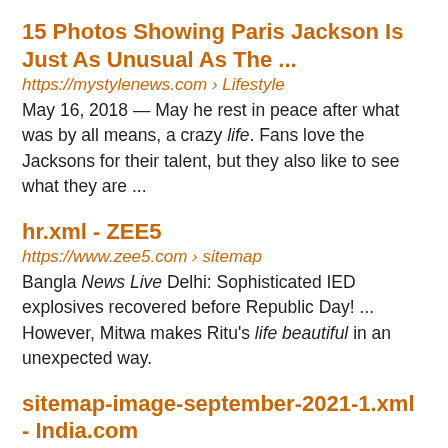15 Photos Showing Paris Jackson Is Just As Unusual As The ...
https://mystylenews.com › Lifestyle
May 16, 2018 — May he rest in peace after what was by all means, a crazy life. Fans love the Jacksons for their talent, but they also like to see what they are ...
hr.xml - ZEE5
https://www.zee5.com › sitemap
Bangla News Live Delhi: Sophisticated IED explosives recovered before Republic Day! ... However, Mitwa makes Ritu's life beautiful in an unexpected way.
sitemap-image-september-2021-1.xml - India.com
https://www.india.com › sitemap-image-september-2021-1
(Representational Image) https://www.india.com/hindi-news/lifestyle/foods-to- ... Registering your PAN is easy with LIC on Life Insurance Corporation of ...
•